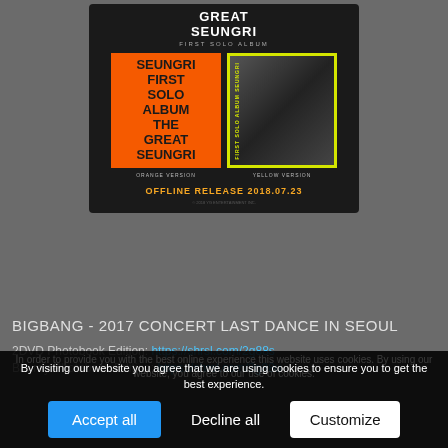[Figure (screenshot): Album promotional image for Seungri First Solo Album 'The Great Seungri'. Shows two album cover versions — orange version with text 'SEUNGRI FIRST SOLO ALBUM THE GREAT SEUNGRI' and yellow-bordered version with a black and white photo. Offline release date 2018.07.23 shown in orange text.]
BIGBANG - 2017 CONCERT LAST DANCE IN SEOUL
2DVD Photobook Edition: https://shrsl.com/2g88s
Blu-ray Photobook Edition: https://shrsl.com/2g88u
In order to provide you with the best online experience this website uses cookies. By using our website, you agree to our use of cookies.
By visiting our website you agree that we are using cookies to ensure you to get the best experience.